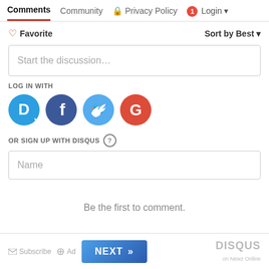Comments  Community  Privacy Policy  1  Login
Favorite  Sort by Best
Start the discussion…
LOG IN WITH
[Figure (logo): Social login icons: Disqus (blue D), Facebook (dark blue f), Twitter (light blue bird), Google (red G)]
OR SIGN UP WITH DISQUS ?
Name
Be the first to comment.
Subscribe  Add  NEXT >>  DISQUS on Newz Online